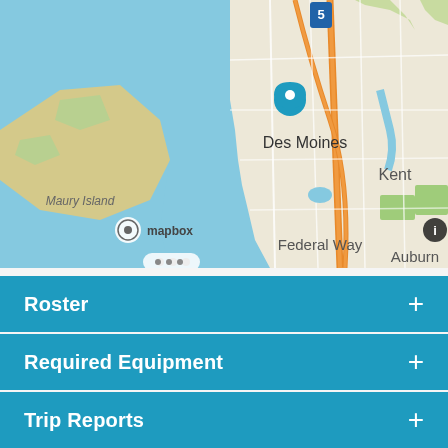[Figure (map): Mapbox map showing Des Moines, WA area with Puget Sound water body on the left, Maury Island label, Federal Way label, Kent label, Auburn label partially visible, Interstate 5 highway marker, orange roads, and a teal location pin marker over Des Moines. Mapbox attribution logo visible in lower left.]
Roster +
Required Equipment +
Trip Reports +